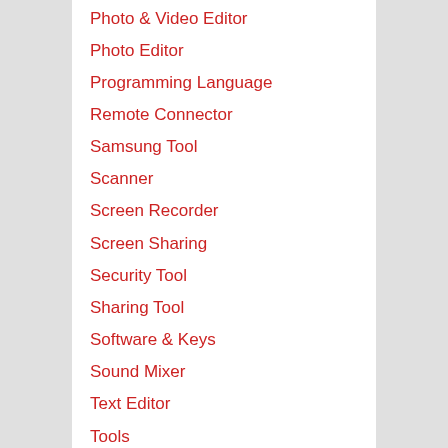Photo & Video Editor
Photo Editor
Programming Language
Remote Connector
Samsung Tool
Scanner
Screen Recorder
Screen Sharing
Security Tool
Sharing Tool
Software & Keys
Sound Mixer
Text Editor
Tools
Typing Tool
Uncategorized
Uninstaller
USB Storage Manager
Video Converter
Video Downloader
video Editor